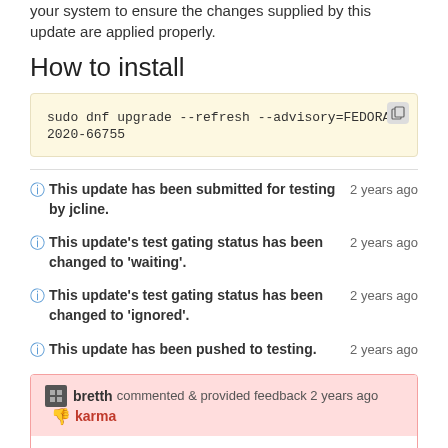your system to ensure the changes supplied by this update are applied properly.
How to install
sudo dnf upgrade --refresh --advisory=FEDORA-2020-66755
This update has been submitted for testing by jcline. 2 years ago
This update's test gating status has been changed to 'waiting'. 2 years ago
This update's test gating status has been changed to 'ignored'. 2 years ago
This update has been pushed to testing. 2 years ago
bretth commented & provided feedback 2 years ago karma